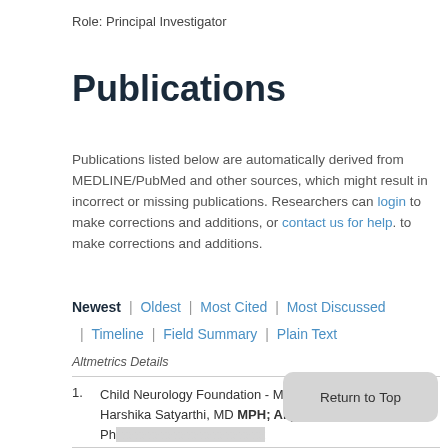Role: Principal Investigator
Publications
Publications listed below are automatically derived from MEDLINE/PubMed and other sources, which might result in incorrect or missing publications. Researchers can login to make corrections and additions, or contact us for help. to make corrections and additions.
Newest | Oldest | Most Cited | Most Discussed | Timeline | Field Summary | Plain Text
Altmetrics Details
Child Neurology Foundation - Migraine Overview. 2022. Harshika Satyarthi, MD MPH; Aliya Frederick, MD, Ph... Publication.